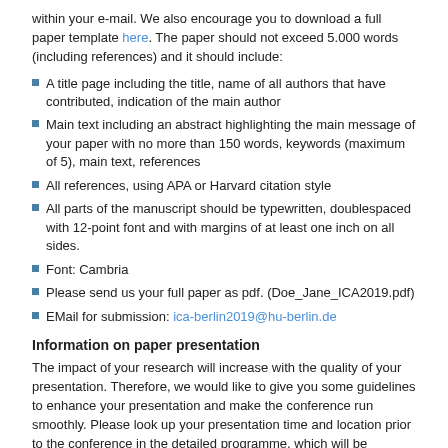within your e-mail. We also encourage you to download a full paper template here. The paper should not exceed 5.000 words (including references) and it should include:
A title page including the title, name of all authors that have contributed, indication of the main author
Main text including an abstract highlighting the main message of your paper with no more than 150 words, keywords (maximum of 5), main text, references
All references, using APA or Harvard citation style
All parts of the manuscript should be typewritten, doublespaced with 12-point font and with margins of at least one inch on all sides.
Font: Cambria
Please send us your full paper as pdf. (Doe_Jane_ICA2019.pdf)
EMail for submission: ica-berlin2019@hu-berlin.de
Information on paper presentation
The impact of your research will increase with the quality of your presentation. Therefore, we would like to give you some guidelines to enhance your presentation and make the conference run smoothly. Please look up your presentation time and location prior to the conference in the detailed programme, which will be updated frequently on this website, so please make sure you check the recent version. We would ask you to be present at the session somewhat at 15 minutes prior to the scheduled starting time.